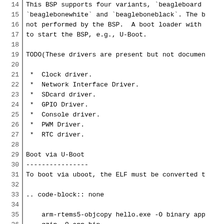14  This BSP supports four variants, `beagleboard
15  `beaglebonewhite` and `beagleboneblack`. The b
16  not performed by the BSP. A boot loader with
17  to start the BSP, e.g., U-Boot.
18
19  TODO(These drivers are present but not documen
20
21   *  Clock driver.
22   *  Network Interface Driver.
23   *  SDcard driver.
24   *  GPIO Driver.
25   *  Console driver.
26   *  PWM Driver.
27   *  RTC driver.
28
29  Boot via U-Boot
30  ----------------
31  To boot via uboot, the ELF must be converted t
32
33  .. code-block:: none
34
35      arm-rtems5-objcopy hello.exe -O binary app
36      gzip -9 app.bin
37      mkimage -A arm -O linux -T kernel -a 0x800
38
39  Getting the Device Tree Blob
40  -----------------------------
41
42  The Device Tree Blob (DTB) is needed to load t
43  the kernel. We build the dtb from the FreeBSD